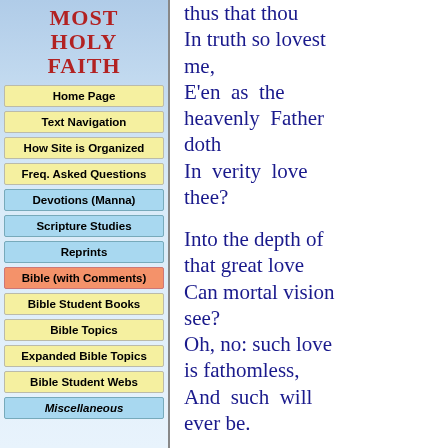MOST HOLY FAITH
Home Page
Text Navigation
How Site is Organized
Freq. Asked Questions
Devotions (Manna)
Scripture Studies
Reprints
Bible (with Comments)
Bible Student Books
Bible Topics
Expanded Bible Topics
Bible Student Webs
Miscellaneous
thus that thou
In truth so lovest me,
E'en as the heavenly Father doth
In verity love thee?

Into the depth of that great love
Can mortal vision see?
Oh, no: such love is fathomless,
And such will ever be.

Still as I think of that great love,
I wonder more